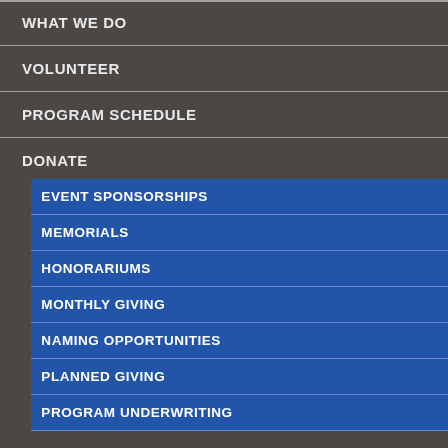WHAT WE DO
VOLUNTEER
PROGRAM SCHEDULE
DONATE
EVENT SPONSORSHIPS
MEMORIALS
HONORARIUMS
MONTHLY GIVING
NAMING OPPORTUNITIES
PLANNED GIVING
PROGRAM UNDERWRITING